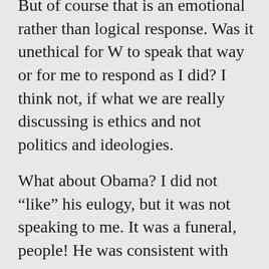But of course that is an emotional rather than logical response. Was it unethical for W to speak that way or for me to respond as I did? I think not, if what we are really discussing is ethics and not politics and ideologies.
What about Obama? I did not “like” his eulogy, but it was not speaking to me. It was a funeral, people! He was consistent with